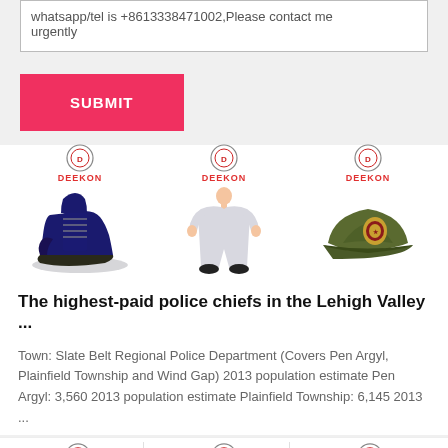whatsapp/tel is +8613338471002,Please contact me urgently
[Figure (screenshot): Red SUBMIT button on form]
[Figure (photo): Three product images: navy blue military boot, white uniform/coverall worn by person, olive green military cap with badge; each with DEEKON logo above]
The highest-paid police chiefs in the Lehigh Valley ...
Town: Slate Belt Regional Police Department (Covers Pen Argyl, Plainfield Township and Wind Gap) 2013 population estimate Pen Argyl: 3,560 2013 population estimate Plainfield Township: 6,145 2013 ...
[Figure (photo): Three DEEKON product thumbnails at bottom of page]